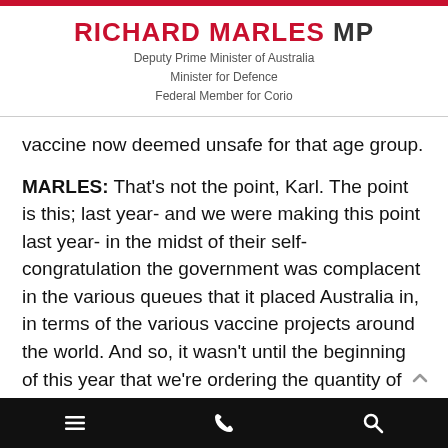RICHARD MARLES MP
Deputy Prime Minister of Australia
Minister for Defence
Federal Member for Corio
vaccine now deemed unsafe for that age group.
MARLES: That’s not the point, Karl. The point is this; last year- and we were making this point last year- in the midst of their self-congratulation the government was complacent in the various queues that it placed Australia in, in terms of the various vaccine projects around the world. And so, it wasn’t until the beginning of this year that we’re ordering the quantity of doses of Pfizer which will enable us to get there. It wasn’t till this year that we even got in the queue of Moderna. Our point last year, and we were making it last year, was that they needed to hedge their bets and be in a whole lot more queues of